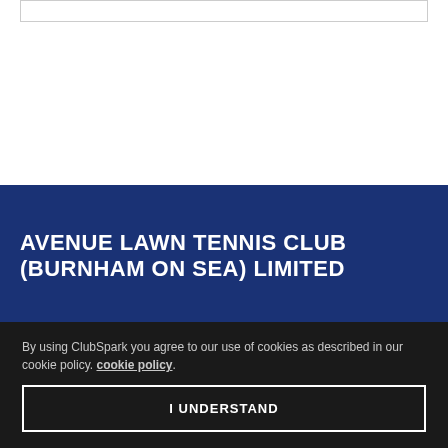AVENUE LAWN TENNIS CLUB (BURNHAM ON SEA) LIMITED
[Figure (logo): Social media icons: Facebook and Twitter, grey circular buttons on dark blue background]
[Figure (logo): LTA Tennis logo at bottom of blue section]
By using ClubSpark you agree to our use of cookies as described in our cookie policy. cookie policy.
I UNDERSTAND